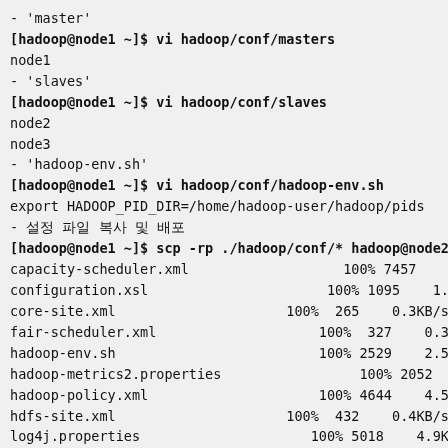- 'master'
[hadoop@node1 ~]$ vi hadoop/conf/masters
node1
- 'slaves'
[hadoop@node1 ~]$ vi hadoop/conf/slaves
node2
node3
- 'hadoop-env.sh'
[hadoop@node1 ~]$ vi hadoop/conf/hadoop-env.sh
export HADOOP_PID_DIR=/home/hadoop-user/hadoop/pids
- 설정 파일 복사 및 배포
[hadoop@node1 ~]$ scp -rp ./hadoop/conf/* hadoop@node2:~/hadoop/con
capacity-scheduler.xml    100% 7457   7.3KB/s
configuration.xsl         100% 1095   1.1KB/s  00
core-site.xml             100%  265   0.3KB/s  00:0
fair-scheduler.xml         100%  327   0.3KB/s  00
hadoop-env.sh              100% 2529   2.5KB/s  0
hadoop-metrics2.properties      100% 2052   2.0KB/
hadoop-policy.xml          100% 4644   4.5KB/s  0
hdfs-site.xml             100%  432   0.4KB/s  00:0
log4j.properties          100% 5018   4.9KB/s  00
mapred-queue-acls.xml          100% 2033   2.0KB/s
mapred-site.xml           100%  449   0.4KB/s  0